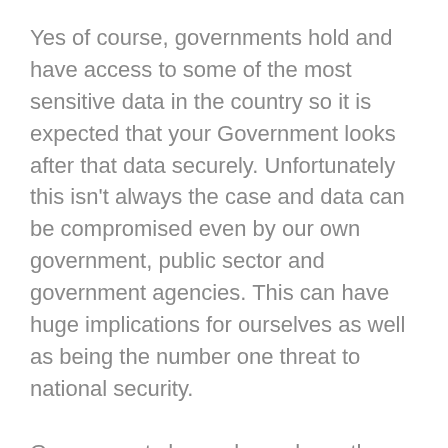Yes of course, governments hold and have access to some of the most sensitive data in the country so it is expected that your Government looks after that data securely. Unfortunately this isn't always the case and data can be compromised even by our own government, public sector and government agencies. This can have huge implications for ourselves as well as being the number one threat to national security.
Governments have always been the target for attacks for this very reason and with the implementation of storing data digitally, cyber crime and cyber attacks against the government have risen. It is now estimated that the government comes under cyber attack millions of times a year